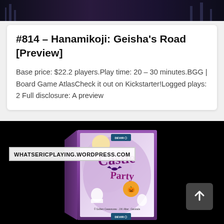[Figure (photo): Dark colored banner image at the top of the page]
#814 – Hanamikoji: Geisha's Road [Preview]
Base price: $22.2 players.Play time: 20 – 30 minutes.BGG | Board Game AtlasCheck it out on Kickstarter!Logged plays: 2 Full disclosure: A preview
[Figure (photo): Castle Party board game box on black background with WHATSERICPLAYING.WORDPRESS.COM watermark overlay. Purple and Halloween themed artwork with ghosts, pumpkins and other characters.]